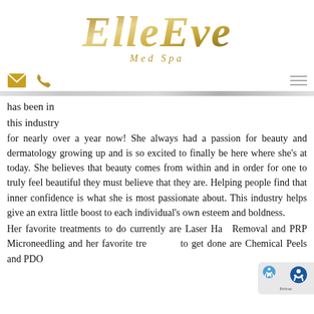[Figure (logo): ElleEve Med Spa logo in gold script with decorative lines and 'Med Spa' subtitle]
[Figure (infographic): Navigation bar with envelope icon, phone icon on left, hamburger menu icon on right]
has been in this industry for nearly over a year now! She always had a passion for beauty and dermatology growing up and is so excited to finally be here where she's at today. She believes that beauty comes from within and in order for one to truly feel beautiful they must believe that they are. Helping people find that inner confidence is what she is most passionate about. This industry helps give an extra little boost to each individual's own esteem and boldness.
Her favorite treatments to do currently are Laser Hair Removal and PRP Microneedling and her favorite treatments to get done are Chemical Peels and PDO